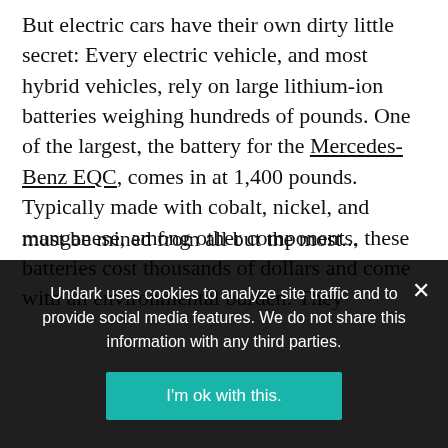But electric cars have their own dirty little secret: Every electric vehicle, and most hybrid vehicles, rely on large lithium-ion batteries weighing hundreds of pounds. One of the largest, the battery for the Mercedes-Benz EQC, comes in at 1,400 pounds. Typically made with cobalt, nickel, and manganese, among other components, these batteries cost thousands of dollars and come with an environmental burden: They
Undark uses cookies to analyze site traffic and to provide social media features. We do not share this information with any third parties.